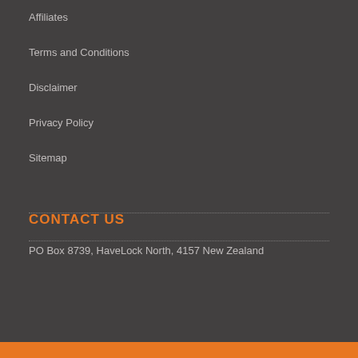Affiliates
Terms and Conditions
Disclaimer
Privacy Policy
Sitemap
CONTACT US
PO Box 8739, HaveLock North, 4157 New Zealand